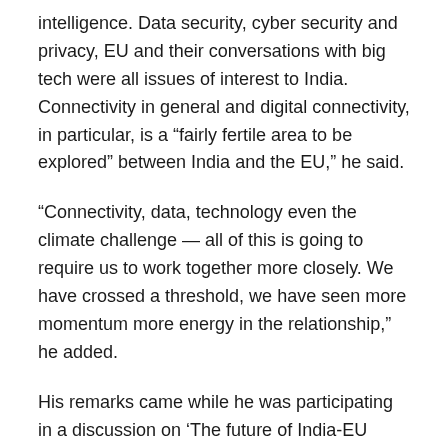intelligence. Data security, cyber security and privacy, EU and their conversations with big tech were all issues of interest to India. Connectivity in general and digital connectivity, in particular, is a “fairly fertile area to be explored” between India and the EU,” he said.
“Connectivity, data, technology even the climate challenge — all of this is going to require us to work together more closely. We have crossed a threshold, we have seen more momentum more energy in the relationship,” he added.
His remarks came while he was participating in a discussion on ‘The future of India-EU relations’ at a virtual event organised by Observer Research Foundation (ORF).